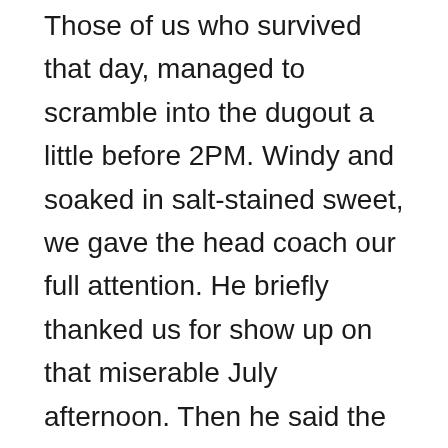Those of us who survived that day, managed to scramble into the dugout a little before 2PM. Windy and soaked in salt-stained sweet, we gave the head coach our full attention. He briefly thanked us for show up on that miserable July afternoon. Then he said the words the felt like an anvil sinking to the bottom of my heart. “There was no one special here today.”
Though the words were full of disappointment, they have since become a moto for me. I plan to call my autobiography, ‘No One Special.’ But do not get to excited. I have no plans to write it anytime soon, or really ever. But if I do, I have the title. I